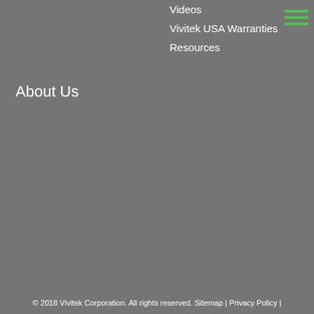Videos
Vivitek USA Warranties
Resources
About Us
© 2018 Vivitek Corporation. All rights reserved. Sitemap | Privacy Policy |